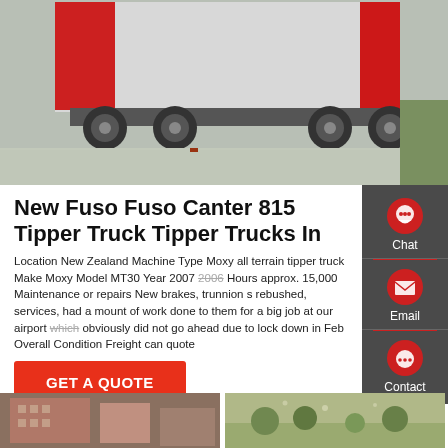[Figure (photo): Truck (tipper truck) photographed outdoors on a paved/cobblestone surface, showing the rear chassis and body, red and white coloring]
New Fuso Fuso Canter 815 Tipper Truck Tipper Trucks In
Location New Zealand Machine Type Moxy all terrain tipper truck Make Moxy Model MT30 Year 2007 2006 Hours approx. 15,000 Maintenance or repairs New brakes, trunnion s rebushed, services, had a mount of work done to them for a big job at our airport which obviously did not go ahead due to lock down in Feb Overall Condition Freight can quote
[Figure (infographic): Sidebar with Chat, Email, and Contact buttons on dark grey background]
GET A QUOTE
[Figure (photo): Two small thumbnail images at bottom: left shows a building exterior, right shows an outdoor scene]